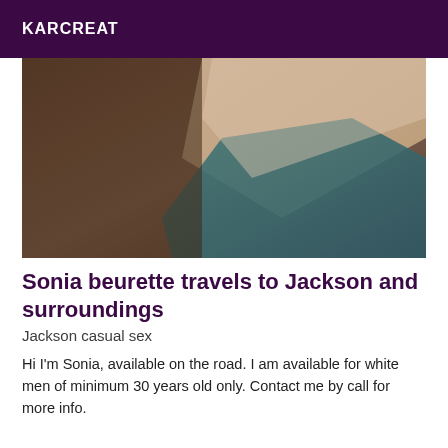KARCREAT
[Figure (photo): Blurry close-up photo showing abstract shapes with muted teal, brown, and beige tones]
Sonia beurette travels to Jackson and surroundings
Jackson casual sex
Hi I'm Sonia, available on the road. I am available for white men of minimum 30 years old only. Contact me by call for more info.